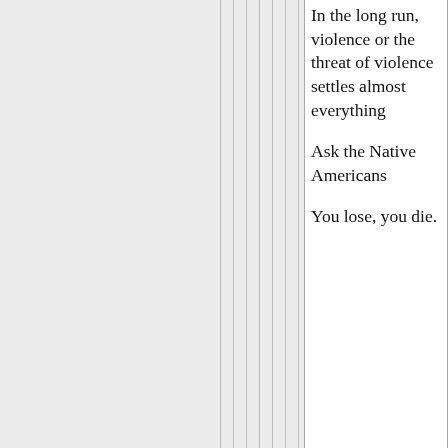In the long run, violence or the threat of violence settles almost everything

Ask the Native Americans

You lose, you die.
AlphaMaleProphetOf on July 19, 2006 - 1:51pm Permalink | Parent | Comments top
Twilight,